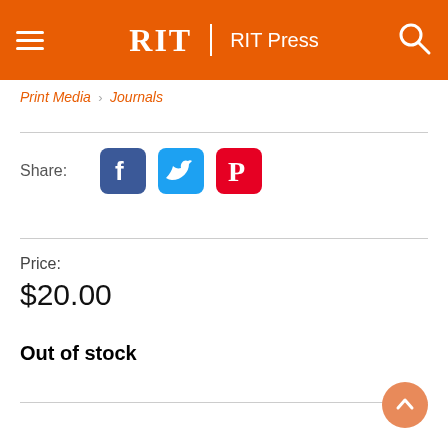RIT | RIT Press
Print Media  Journals
Share:
[Figure (screenshot): Social sharing icons: Facebook, Twitter, Pinterest]
Price:
$20.00
Out of stock